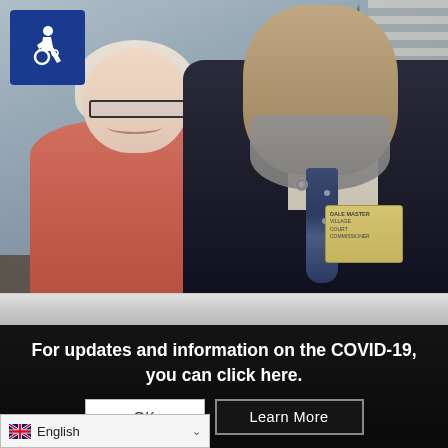[Figure (photo): Photo of a smiling woman in a pink/red jacket with short blonde hair and glasses, standing next to a man in a dark suit with a tie and name badge. A Christmas tree is visible in the background. An accessibility (wheelchair) icon badge is overlaid in the top-left corner.]
For updates and information on the COVID-19, you can click here.
OK
Learn More
English